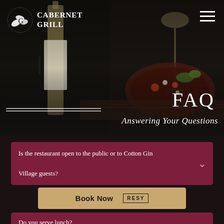[Figure (photo): Dark atmospheric restaurant hero image showing a wine bottle labeled Pedernales, a wine glass, and a decorative food dish on a wooden board. Dark moody background.]
CABERNET GRILL
FAQ
Answering Your Questions
Is the restaurant open to the public or to Cotton Gin Village guests?
Book Now   RESY
Do you serve lunch?